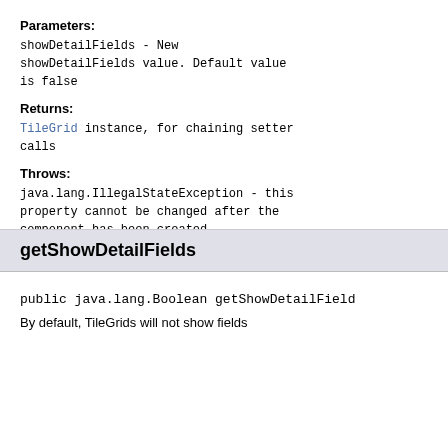Parameters:
showDetailFields - New showDetailFields value. Default value is false
Returns:
TileGrid instance, for chaining setter calls
Throws:
java.lang.IllegalStateException - this property cannot be changed after the component has been created
getShowDetailFields
public java.lang.Boolean getShowDetailFields
By default, TileGrids will not show fields